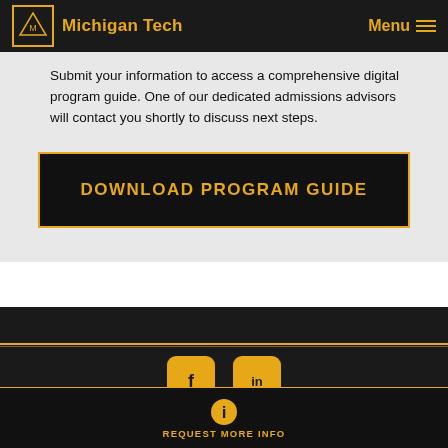Michigan Tech | Menu
Submit your information to access a comprehensive digital program guide. One of our dedicated admissions advisors will contact you shortly to discuss next steps.
DOWNLOAD PROGRAM GUIDE
[Figure (logo): Michigan Tech university logo with wolf icon]
Copyright © 2022 | Privacy Policy | California Privacy Notice
REQUEST MORE INFO